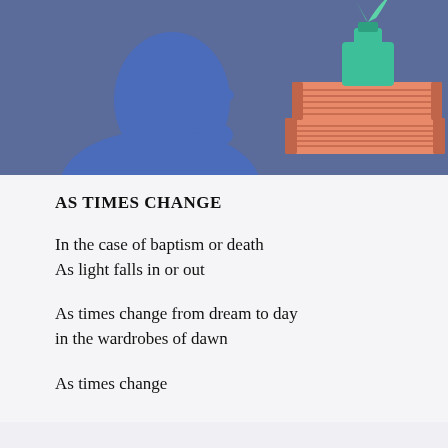[Figure (illustration): Blue banner header with silhouette of a human head/bust on the left in a lighter blue, and on the right a stack of two orange/salmon colored books with a teal/green ink bottle with a green feather quill on top, all on a muted blue-purple background.]
AS TIMES CHANGE
In the case of baptism or death
As light falls in or out
As times change from dream to day
in the wardrobes of dawn
As times change